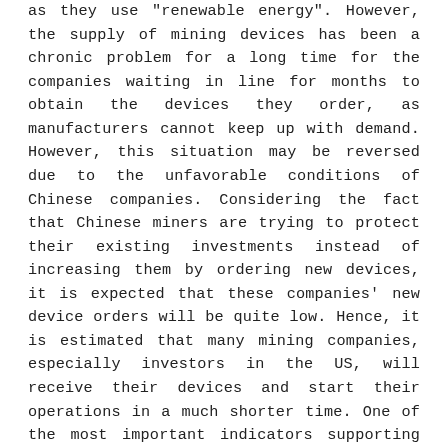as they use "renewable energy". However, the supply of mining devices has been a chronic problem for a long time for the companies waiting in line for months to obtain the devices they order, as manufacturers cannot keep up with demand. However, this situation may be reversed due to the unfavorable conditions of Chinese companies. Considering the fact that Chinese miners are trying to protect their existing investments instead of increasing them by ordering new devices, it is expected that these companies' new device orders will be quite low. Hence, it is estimated that many mining companies, especially investors in the US, will receive their devices and start their operations in a much shorter time. One of the most important indicators supporting this view is the 2021 1st quarter report of the China-based Canaan company, one of the most popular device manufacturers. The company announced that, in terms of the device orders, the share of companies outside of China increased from 49% to